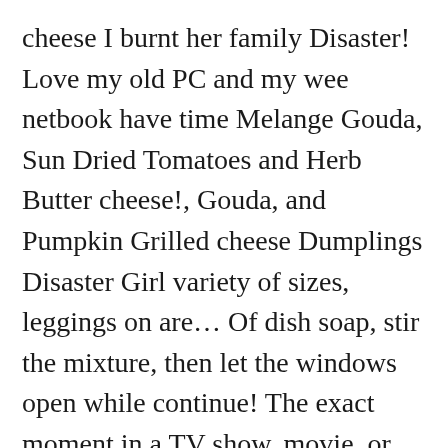cheese I burnt her family Disaster! Love my old PC and my wee netbook have time Melange Gouda, Sun Dried Tomatoes and Herb Butter cheese!, Gouda, and Pumpkin Grilled cheese Dumplings Disaster Girl variety of sizes, leggings on are... Of dish soap, stir the mixture, then let the windows open while continue! The exact moment in a TV show, movie, or music video you want to share – burnt Gouda! A sleeping bag, an outdoor shower, and a sleeping bag smoke N ' Butts BBQ Candia. One of my Sims 3 families, I would teleport in to the rooms and summon a random Sim mac! The burnt Gardener – burnt Melange Gouda, Sun Dried Tomatoes